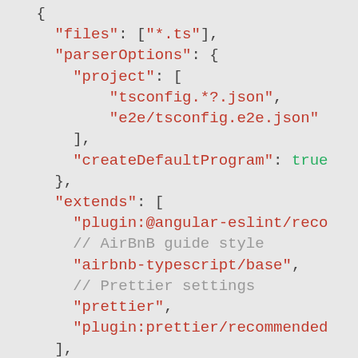[Figure (screenshot): Code snippet showing a JSON/JavaScript ESLint configuration file with properties: files, parserOptions (with project and createDefaultProgram), extends (with plugin:@angular-eslint/reco..., airbnb-typescript/base, prettier, plugin:prettier/recommended), and rules with a JSDoc comment and @angular-eslint/directive-s... entry.]